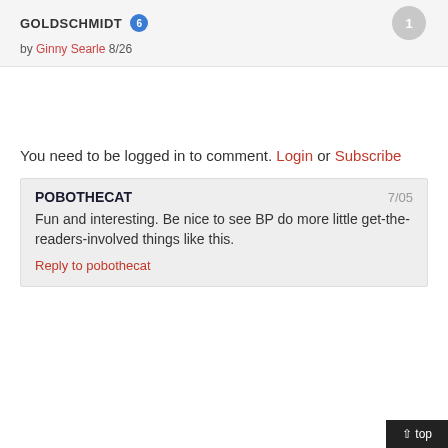GOLDSCHMIDT [badge:6] by Ginny Searle 8/26 [comment count: 1]
You need to be logged in to comment. Login or Subscribe
POBOTHECAT 7/05 Fun and interesting. Be nice to see BP do more little get-the-readers-involved things like this. Reply to pobothecat